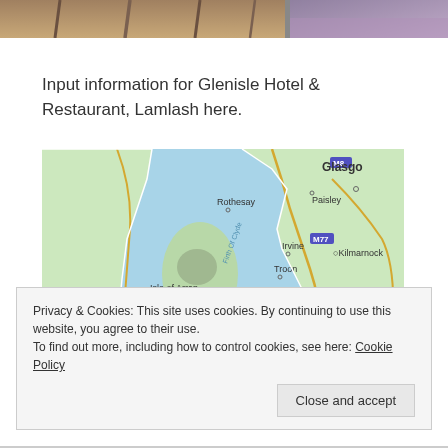[Figure (photo): Bottom portion of a hotel interior photo showing furniture legs and a purple/mauve chair on the right side]
Input information for Glenisle Hotel & Restaurant, Lamlash here.
[Figure (map): Google Maps view showing west coast of Scotland including Isle of Arran, Firth of Clyde, Rothesay, Glasgow, Paisley, Irvine, Kilmarnock, Troon, Ayr, Campbeltown. M77 and M8 motorways visible.]
Privacy & Cookies: This site uses cookies. By continuing to use this website, you agree to their use.
To find out more, including how to control cookies, see here: Cookie Policy
Close and accept